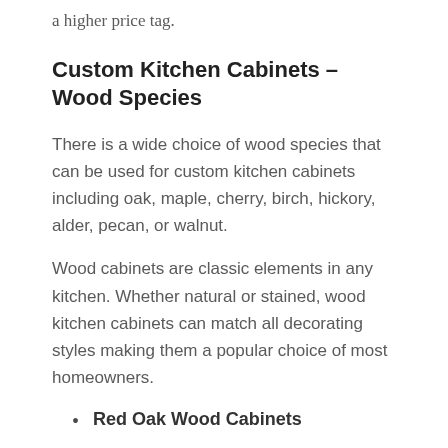a higher price tag.
Custom Kitchen Cabinets – Wood Species
There is a wide choice of wood species that can be used for custom kitchen cabinets including oak, maple, cherry, birch, hickory, alder, pecan, or walnut.
Wood cabinets are classic elements in any kitchen. Whether natural or stained, wood kitchen cabinets can match all decorating styles making them a popular choice of most homeowners.
Red Oak Wood Cabinets
Red oak is a durable, strong, and inexpensive material for kitchen cabinets. It is available in various styles and finishes. Its noticeable grain patterns make it a popular choice for traditional-